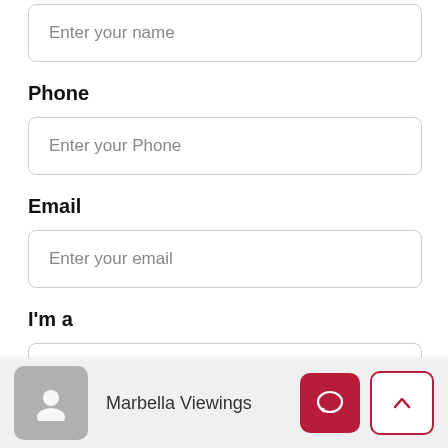Enter your name
Phone
Enter your Phone
Email
Enter your email
I'm a
Select
Message
Hello, I am interested in R3669461 - Villa for
Marbella Viewings